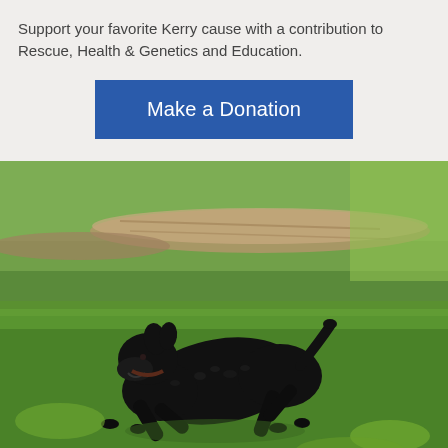Support your favorite Kerry cause with a contribution to Rescue, Health & Genetics and Education.
[Figure (other): A blue button/call-to-action with white text reading 'Make a Donation']
[Figure (photo): A black curly-coated Kerry Blue Terrier puppy running energetically across green grass outdoors, with a fallen log and foliage in the background.]